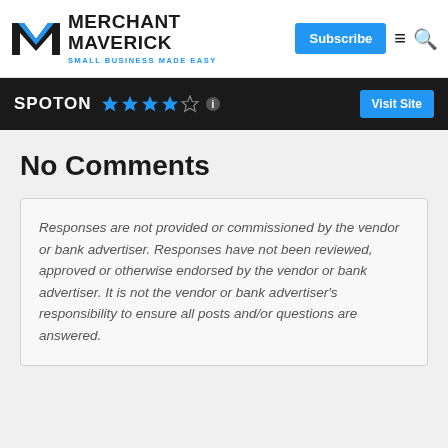[Figure (logo): Merchant Maverick logo with stylized M checkmark icon and tagline SMALL BUSINESS MADE EASY]
SPOTON ★★★★☆ — Visit Site
No Comments
Responses are not provided or commissioned by the vendor or bank advertiser. Responses have not been reviewed, approved or otherwise endorsed by the vendor or bank advertiser. It is not the vendor or bank advertiser's responsibility to ensure all posts and/or questions are answered.